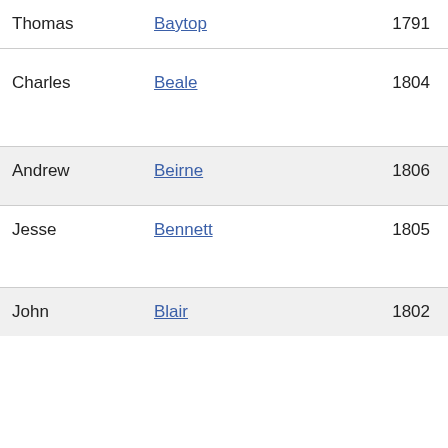| First Name | Last Name | Year |
| --- | --- | --- |
| Thomas | Baytop | 1791 |
| Charles | Beale | 1804 |
| Andrew | Beirne | 1806 |
| Jesse | Bennett | 1805 |
| John | Blair | 1802 |